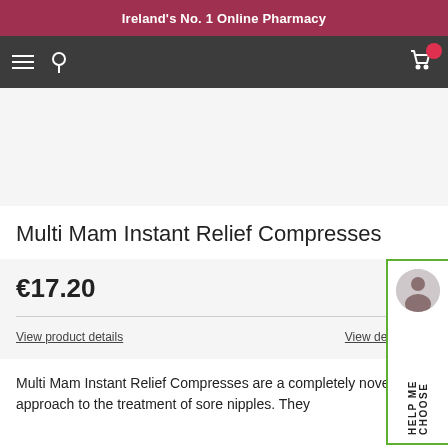Ireland's No. 1 Online Pharmacy
[Figure (screenshot): Navigation bar with hamburger menu, location pin icon, and shopping cart icon with red badge]
[Figure (photo): Product image area (light grey background, product image not visible in crop)]
Multi Mam Instant Relief Compresses
€17.20
BIOF
View product details
View delivery op
[Figure (photo): Help Me Choose panel with pharmacist avatar and vertical text]
Multi Mam Instant Relief Compresses are a completely novel approach to the treatment of sore nipples. They